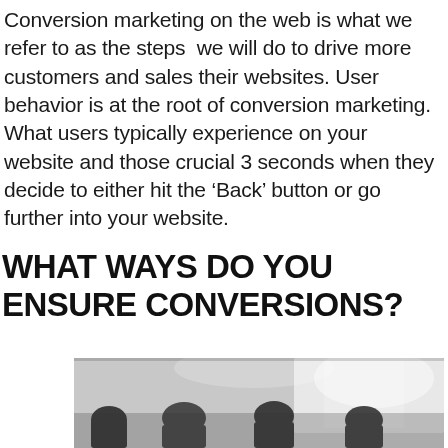Conversion marketing on the web is what we refer to as the steps  we will do to drive more customers and sales their websites. User behavior is at the root of conversion marketing. What users typically experience on your website and those crucial 3 seconds when they decide to either hit the ‘Back’ button or go further into your website.
WHAT WAYS DO YOU ENSURE CONVERSIONS?
[Figure (photo): Blurry photo of a group of people in an office or meeting room setting, with light coming through large windows in the background. Multiple people visible as dark silhouettes in the foreground.]